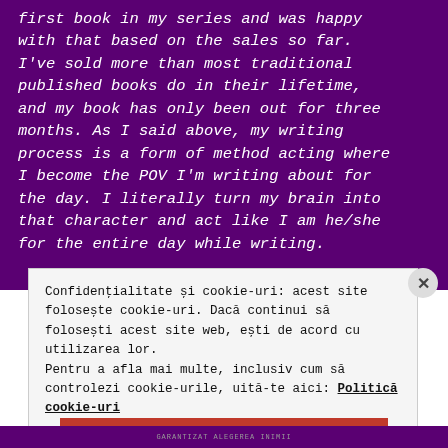first book in my series and was happy with that based on the sales so far. I've sold more than most traditional published books do in their lifetime, and my book has only been out for three months. As I said above, my writing process is a form of method acting where I become the POV I'm writing about for the day. I literally turn my brain into that character and act like I am he/she for the entire day while writing.
Confidențialitate și cookie-uri: acest site folosește cookie-uri. Dacă continui să folosești acest site web, ești de acord cu utilizarea lor.
Pentru a afla mai multe, inclusiv cum să controlezi cookie-urile, uită-te aici: Politică cookie-uri
Închide și acceptă